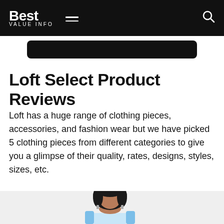Best VALUE INFO — navigation header with menu and search icons
[Figure (other): Dark rounded rectangle banner element below header]
Loft Select Product Reviews
Loft has a huge range of clothing pieces, accessories, and fashion wear but we have picked 5 clothing pieces from different categories to give you a glimpse of their quality, rates, designs, styles, sizes, etc.
[Figure (photo): Partial photo of a woman with short dark hair wearing a blue sleeveless top, cropped at the bottom of the page]